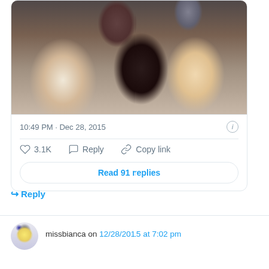[Figure (photo): Group selfie photo of several people smiling at the camera, embedded in a tweet card]
10:49 PM · Dec 28, 2015
3.1K  Reply  Copy link
Read 91 replies
↪ Reply
missbianca on 12/28/2015 at 7:02 pm